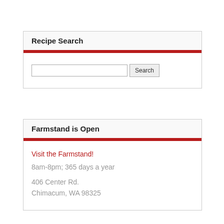Recipe Search
[Figure (screenshot): Search input box with a Search button]
Farmstand is Open
Visit the Farmstand!
8am-8pm; 365 days a year
406 Center Rd.
Chimacum, WA 98325